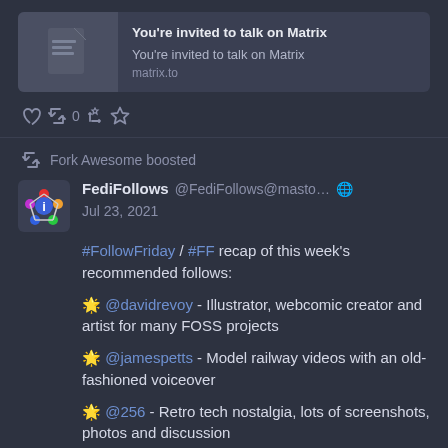[Figure (screenshot): Link preview card for matrix.to showing a document icon, title 'You're invited to talk on Matrix', subtitle 'You're invited to talk on Matrix', and URL 'matrix.to']
↩ 0  🔁  ★
🔁 Fork Awesome boosted
FediFollows @FediFollows@masto... 🌐 Jul 23, 2021
#FollowFriday / #FF recap of this week's recommended follows:

🌟 @davidrevoy - Illustrator, webcomic creator and artist for many FOSS projects

🌟 @jamespetts - Model railway videos with an old-fashioned voiceover

🌟 @256 - Retro tech nostalgia, lots of screenshots, photos and discussion